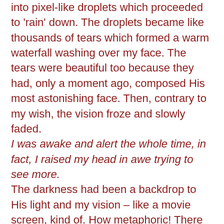into pixel-like droplets which proceeded to 'rain' down. The droplets became like thousands of tears which formed a warm waterfall washing over my face. The tears were beautiful too because they had, only a moment ago, composed His most astonishing face. Then, contrary to my wish, the vision froze and slowly faded.
I was awake and alert the whole time, in fact, I raised my head in awe trying to see more.
The darkness had been a backdrop to His light and my vision – like a movie screen, kind of. How metaphoric! There was so much more going on in this than I can explain with mere words – but I have to try. My thanks and praises to my Lord Jesus:
It was about allowing my heart, not just my eyes, to see.
It was about his tender mercies just for me.
It was about death, and life, and lovingkindness.